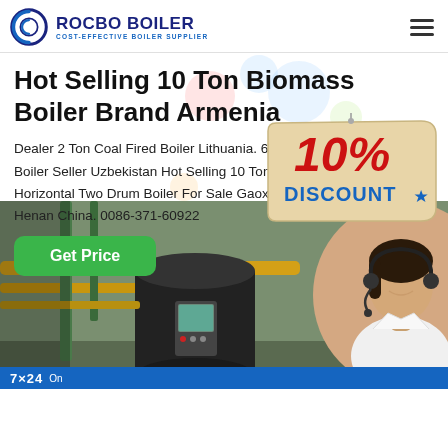[Figure (logo): Rocbo Boiler logo with circular icon and text 'ROCBO BOILER / COST-EFFECTIVE BOILER SUPPLIER']
Hot Selling 10 Ton Biomass Boiler Brand Armenia
Dealer 2 Ton Coal Fired Boiler Lithuania. 6 Ton Biomass Fired Steam Boiler Seller Uzbekistan Hot Selling 10 Ton Coal Fired Boiler Armenia Horizontal Two Drum Boiler For Sale Gaoxinqu Area, Zhengzhou Henan China. 0086-371-60922...
[Figure (infographic): 10% Discount promotional badge in red and beige colors]
[Figure (photo): Industrial boiler room with yellow and green pipes, cylindrical boiler tank with control panel, and customer service representative with headset on the right side]